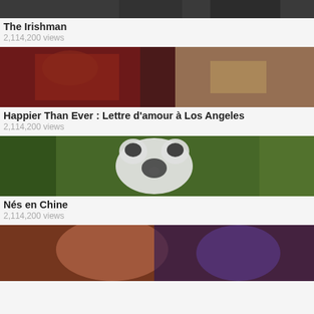[Figure (photo): Movie thumbnail for The Irishman - two men in suits, partially visible at top of page]
The Irishman
2,114,200 views
[Figure (photo): Movie thumbnail for Happier Than Ever: Lettre d'amour à Los Angeles - dark red tones with a woman with blonde hair]
Happier Than Ever : Lettre d'amour à Los Angeles
2,114,200 views
[Figure (photo): Movie thumbnail for Nés en Chine - giant panda bear close-up]
Nés en Chine
2,114,200 views
[Figure (photo): Partial thumbnail of fourth movie - two people close together, warm amber tones]